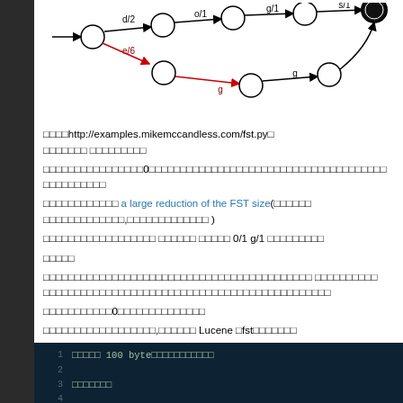[Figure (flowchart): FST (Finite State Transducer) diagram with nodes connected by labeled arcs including d/2, e/6, o/1, g/1, s/1, g transitions. Red arcs show an alternate path.]
（图片）http://examples.mikemccandless.com/fst.py（图片）（图片）（图片）（图片）（图片）（图片）（图片） （图片）（图片）（图片）（图片）（图片）（图片）
（图片）（图片）（图片）（图片）（图片）（图片）（图片）（图片）（图片）（图片）（图片）（图片）（图片）（图片）（图片）（图片）0（图片）（图片）（图片）（图片）（图片）（图片）（图片）（图片）（图片）（图片）（图片）（图片）（图片）（图片）（图片）（图片）（图片）（图片）（图片）（图片）（图片）（图片）（图片）（图片）（图片）（图片）（图片）（图片）（图片）（图片）（图片）（图片）（图片）（图片）（图片）（图片）（图片）（图片）
（图片）（图片）（图片）（图片）（图片）（图片）（图片）（图片）（图片）（图片）（图片）（图片） a large reduction of the FST size(（图片）（图片）（图片）（图片）（图片）（图片）（图片）（图片）（图片）（图片）（图片）（图片）（图片）（图片）（图片）（图片）（图片）（图片）,（图片）（图片）（图片）（图片）（图片）（图片）（图片）（图片）（图片）（图片）（图片）（图片）（图片） )
（图片）（图片）（图片）（图片）（图片）（图片）（图片）（图片）（图片）（图片）（图片）（图片）（图片）（图片）（图片）（图片）（图片）（图片） （图片）（图片）（图片）（图片）（图片）（图片） （图片）（图片）（图片）（图片）（图片） 0/1 g/1 （图片）（图片）（图片）（图片）（图片）（图片）（图片）（图片）（图片）
（图片）（图片）（图片）（图片）（图片）
（图片）（图片）（图片）（图片）（图片）（图片）（图片）（图片）（图片）（图片）（图片）（图片）（图片）（图片）（图片）（图片）（图片）（图片）（图片）（图片）（图片）（图片）（图片）（图片）（图片）（图片）（图片）（图片）（图片）（图片）（图片）（图片）（图片）（图片）（图片）（图片）（图片）（图片）（图片）（图片）（图片）（图片）（图片） （图片）（图片）（图片）（图片）（图片）（图片）（图片）（图片）（图片）（图片）
（图片）（图片）（图片）（图片）（图片）（图片）（图片）（图片）（图片）（图片）（图片）（图片）（图片）（图片）（图片）（图片）（图片）（图片）（图片）（图片）（图片）（图片）（图片）（图片）（图片）（图片）（图片）（图片）（图片）（图片）（图片）（图片）（图片）（图片）（图片）（图片）（图片）（图片）（图片）（图片）（图片）（图片）（图片）（图片）（图片）（图片）
（图片）（图片）（图片）（图片）（图片）（图片）（图片）（图片）（图片）（图片）（图片）0（图片）（图片）（图片）（图片）（图片）（图片）（图片）（图片）（图片）（图片）（图片）（图片）（图片）（图片）
（图片）（图片）（图片）（图片）（图片）（图片）（图片）（图片）（图片）（图片）（图片）（图片）（图片）（图片）（图片）（图片）（图片）（图片）,（图片）（图片）（图片）（图片）（图片）（图片） Lucene （图片）fst（图片）（图片）（图片）（图片）（图片）（图片）（图片）
[Figure (screenshot): Code block with dark background showing numbered lines of code. Line 1: 将输入 100 byte（图片）（图片）... Line 3: （图片）（图片）（图片）（图片）（图片）（图片）（图片）]